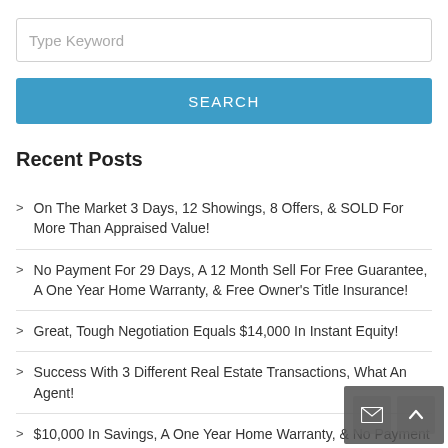Type Keyword
SEARCH
Recent Posts
On The Market 3 Days, 12 Showings, 8 Offers, & SOLD For More Than Appraised Value!
No Payment For 29 Days, A 12 Month Sell For Free Guarantee, A One Year Home Warranty, & Free Owner's Title Insurance!
Great, Tough Negotiation Equals $14,000 In Instant Equity!
Success With 3 Different Real Estate Transactions, What An Agent!
$10,000 In Savings, A One Year Home Warranty, & No Payment For